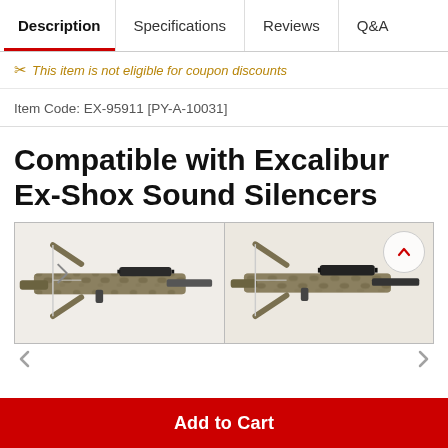Description | Specifications | Reviews | Q&A
✂ This item is not eligible for coupon discounts
Item Code: EX-95911 [PY-A-10031]
Compatible with Excalibur Ex-Shox Sound Silencers
[Figure (photo): Two crossbow product photos side by side showing camouflage-patterned crossbows with scopes]
Add to Cart